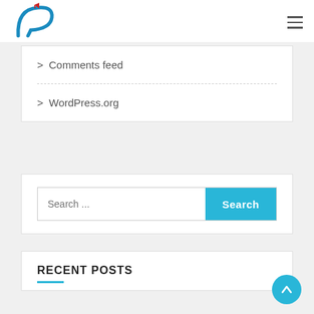Logo / Navigation header with hamburger menu
> Comments feed
> WordPress.org
Search ...
RECENT POSTS